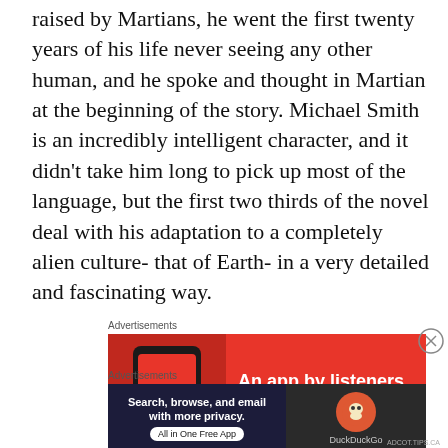raised by Martians, he went the first twenty years of his life never seeing any other human, and he spoke and thought in Martian at the beginning of the story. Michael Smith is an incredibly intelligent character, and it didn't take him long to pick up most of the language, but the first two thirds of the novel deal with his adaptation to a completely alien culture- that of Earth- in a very detailed and fascinating way.
Advertisements
[Figure (other): Advertisement banner with red background showing a smartphone with 'Dis...' text visible on screen and white bold text reading 'An app by listeners, for listeners.']
Advertisements
[Figure (other): DuckDuckGo advertisement banner with dark background. Left section: 'Search, browse, and email with more privacy. All in One Free App'. Right section: DuckDuckGo logo with duck icon.]